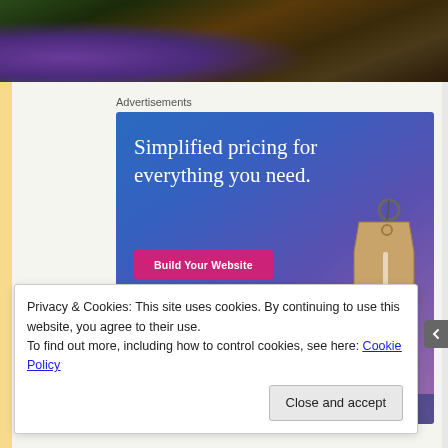[Figure (photo): Top photo strip showing colorful produce/grapes in mesh bag on wooden surface]
Advertisements
[Figure (illustration): Advertisement banner: 'Simplified pricing for everything you need.' with 'Build Your Website' pink button and a price tag graphic. WordPress/website builder ad.]
Privacy & Cookies: This site uses cookies. By continuing to use this website, you agree to their use.
To find out more, including how to control cookies, see here: Cookie Policy
Close and accept